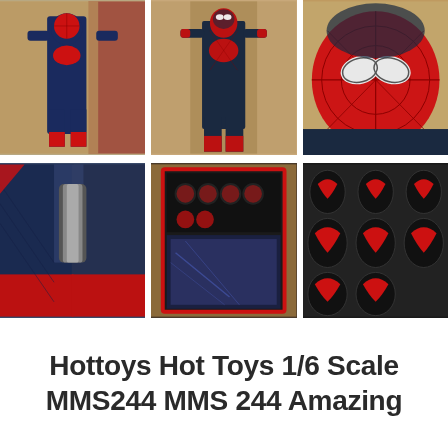[Figure (photo): Six photos in a 2x3 grid showing a Hot Toys Amazing Spider-Man 1/6 scale figure: top row shows three views of the full figure and its masked head; bottom row shows close-up of legs/boots, the open accessory box with hands and head sculpts, and a close-up tray of red/dark web-shooter hands.]
Hottoys Hot Toys 1/6 Scale MMS244 MMS 244 Amazing